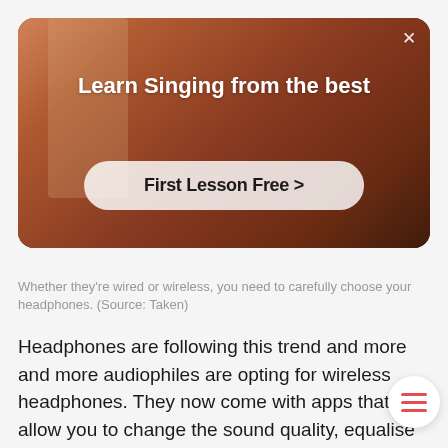[Figure (screenshot): Ad banner showing a person with arms raised in a warm-toned room. White text reads 'Learn Singing from the best' with a 'First Lesson Free >' button. Close X button in top right.]
Whether they're wired or wireless, you need to carefully choose your headphones. (Source: Taken)
Headphones are following this trend and more and more audiophiles are opting for wireless headphones. They now come with apps that allow you to change the sound quality, equalise the sound, and change the ambient sound. Whe comes to getting wireless headphones, the few things you need to think about: